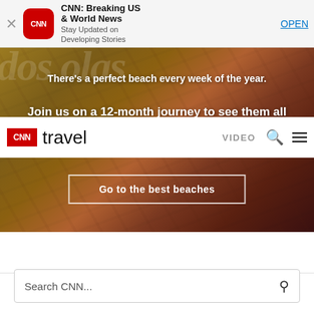[Figure (screenshot): CNN app download banner with red CNN icon, text 'CNN: Breaking US & World News, Stay Updated on Developing Stories', and OPEN button]
[Figure (photo): Hero image of aerial beach/sand dunes scene with warm brown and reddish tones, overlaid text and navigation]
There's a perfect beach every week of the year.
Join us on a 12-month journey to see them all
CNN travel  VIDEO
Go to the best beaches
Search CNN...